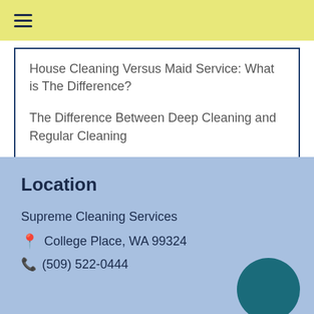≡
House Cleaning Versus Maid Service: What is The Difference?
The Difference Between Deep Cleaning and Regular Cleaning
Location
Supreme Cleaning Services
📍 College Place, WA 99324
📞 (509) 522-0444